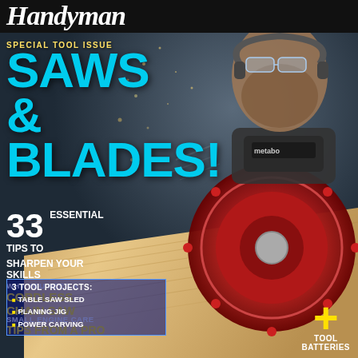Handyman
SPECIAL TOOL ISSUE
SAWS & BLADES!
33 ESSENTIAL TIPS TO SHARPEN YOUR SKILLS
WHY YOU NEED A CORDLESS CHAIN SAW
SMALL ENGINE CARE TIPS FROM A PRO
3 TOOL PROJECTS: TABLE SAW SLED, PLANING JIG, POWER CARVING
+ TOOL BATTERIES